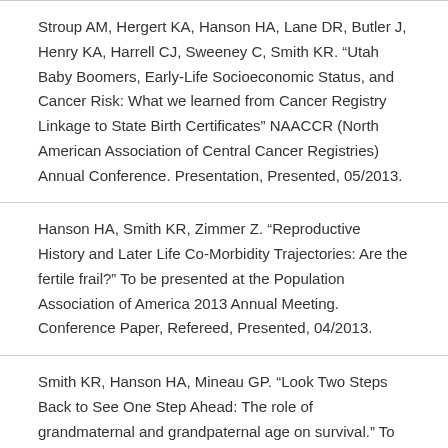Stroup AM, Hergert KA, Hanson HA, Lane DR, Butler J, Henry KA, Harrell CJ, Sweeney C, Smith KR. “Utah Baby Boomers, Early-Life Socioeconomic Status, and Cancer Risk: What we learned from Cancer Registry Linkage to State Birth Certificates” NAACCR (North American Association of Central Cancer Registries) Annual Conference. Presentation, Presented, 05/2013.
Hanson HA, Smith KR, Zimmer Z. “Reproductive History and Later Life Co-Morbidity Trajectories: Are the fertile frail?” To be presented at the Population Association of America 2013 Annual Meeting. Conference Paper, Refereed, Presented, 04/2013.
Smith KR, Hanson HA, Mineau GP. “Look Two Steps Back to See One Step Ahead: The role of grandmaternal and grandpaternal age on survival.” To be presented at the Population Association of America 2013 Annual Meeting.